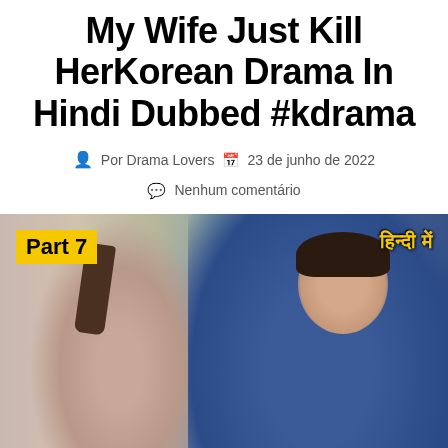My Wife Just Kill HerKorean Drama In Hindi Dubbed #kdrama
Por Drama Lovers   23 de junho de 2022   Nenhum comentário
[Figure (photo): A scene from a Korean drama showing a man in a blue jacket facing a woman with a ponytail, with a blurred green outdoor background. Overlay text: 'Part 7' in yellow badge on left, 'हिन्दी में' in yellow on right.]